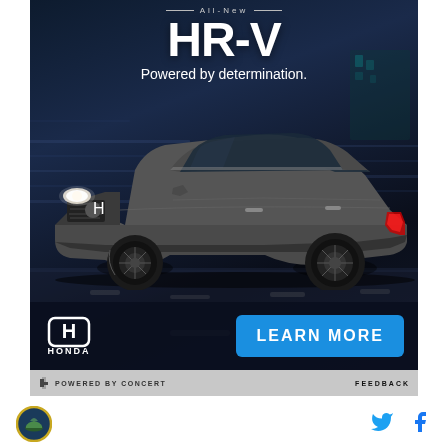[Figure (photo): Honda HR-V advertisement showing the All-New HR-V SUV in dark gray/charcoal color driving on a road at night with motion blur background. Text reads 'All-New HR-V Powered by determination.' with Honda logo and LEARN MORE button.]
POWERED BY CONCERT
FEEDBACK
[Figure (logo): Circular site logo with dark blue background and gold border, appears to show a car silhouette]
[Figure (logo): Twitter bird icon in blue]
[Figure (logo): Facebook 'f' icon in blue]